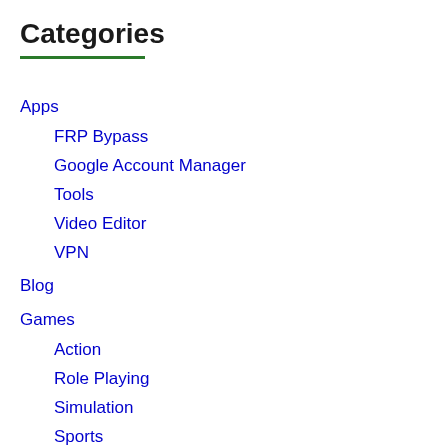Categories
Apps
FRP Bypass
Google Account Manager
Tools
Video Editor
VPN
Blog
Games
Action
Role Playing
Simulation
Sports